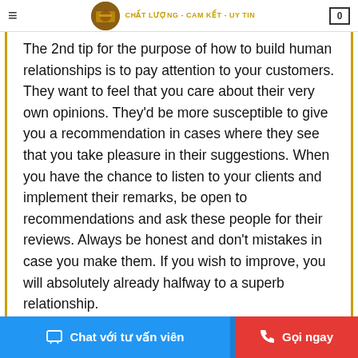≡  CHẤT LƯỢNG - CAM KẾT - UY TIN  0
The 2nd tip for the purpose of how to build human relationships is to pay attention to your customers. They want to feel that you care about their very own opinions. They'd be more susceptible to give you a recommendation in cases where they see that you take pleasure in their suggestions. When you have the chance to listen to your clients and implement their remarks, be open to recommendations and ask these people for their reviews. Always be honest and don't mistakes in case you make them. If you wish to improve, you will absolutely already halfway to a superb relationship.

Last but not least, if you want to make a lasting relationship with your co-workers, show them how
Chat với tư vấn viên  |  Gọi ngay